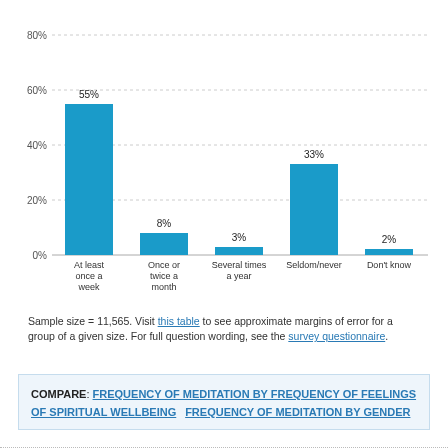[Figure (bar-chart): Frequency of meditation]
Sample size = 11,565. Visit this table to see approximate margins of error for a group of a given size. For full question wording, see the survey questionnaire.
COMPARE: FREQUENCY OF MEDITATION BY FREQUENCY OF FEELINGS OF SPIRITUAL WELLBEING   FREQUENCY OF MEDITATION BY GENDER